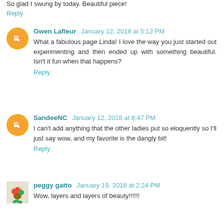So glad I swung by today. Beautiful piece!
Reply
Gwen Lafleur  January 12, 2018 at 5:12 PM
What a fabulous page Linda! I love the way you just started out experimenting and then ended up with something beautiful. Isn't it fun when that happens?
Reply
SandeeNC  January 12, 2018 at 8:47 PM
I can't add anything that the other ladies put so eloquently so I'll just say wow, and my favorite is the dangly bit!
Reply
peggy gatto  January 19, 2018 at 2:24 PM
Wow, layers and layers of beauty!!!!!!